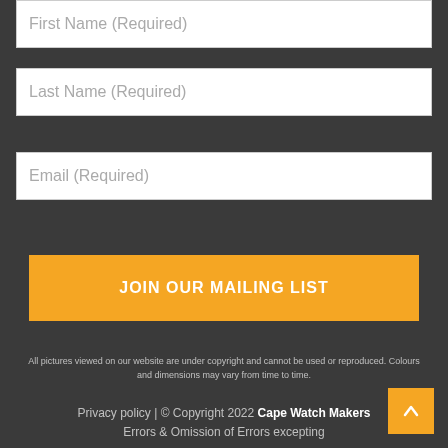First Name (Required)
Last Name (Required)
Email (Required)
JOIN OUR MAILING LIST
All pictures viewed on our website are under copyright and cannot be used or reproduced. Colours and dimensions may vary from time to time.
Privacy policy | © Copyright 2022 Cape Watch Makers
Errors & Omission of Errors excepting